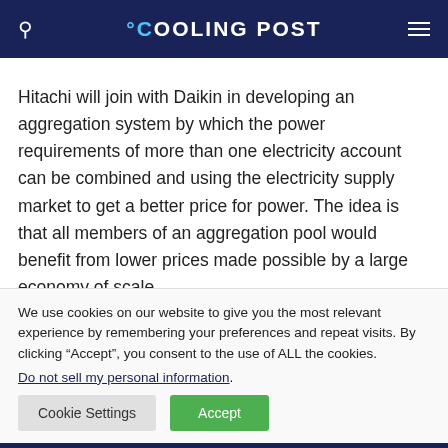COOLING POST
Hitachi will join with Daikin in developing an aggregation system by which the power requirements of more than one electricity account can be combined and using the electricity supply market to get a better price for power. The idea is that all members of an aggregation pool would benefit from lower prices made possible by a large economy of scale.
We use cookies on our website to give you the most relevant experience by remembering your preferences and repeat visits. By clicking “Accept”, you consent to the use of ALL the cookies.
Do not sell my personal information.